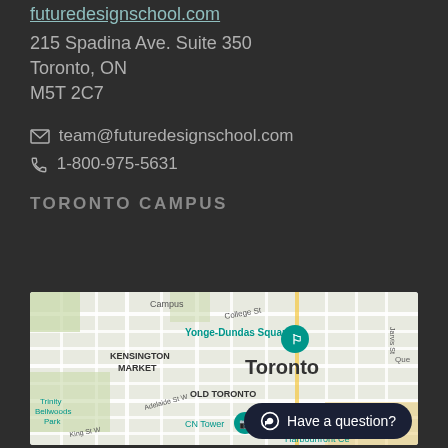futuredesignschool.com
215 Spadina Ave. Suite 350
Toronto, ON
M5T 2C7
team@futuredesignschool.com
1-800-975-5631
TORONTO CAMPUS
[Figure (map): Google map showing Toronto downtown area including Yonge-Dundas Square, Kensington Market, Trinity Bellwoods Park, CN Tower, OLD TORONTO label, and Harbourfront Centre]